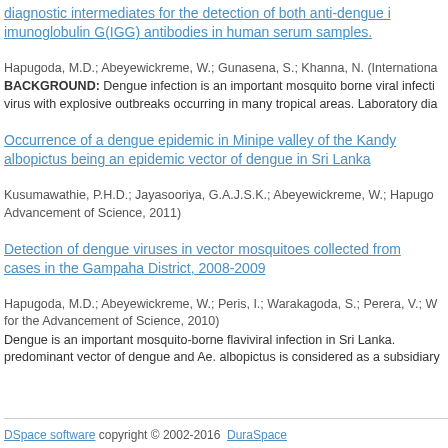diagnostic intermediates for the detection of both anti-dengue immunoglobulin G(IGG) antibodies in human serum samples.
Hapugoda, M.D.; Abeyewickreme, W.; Gunasena, S.; Khanna, N. (Internationa...
BACKGROUND: Dengue infection is an important mosquito borne viral infection virus with explosive outbreaks occurring in many tropical areas. Laboratory dia...
Occurrence of a dengue epidemic in Minipe valley of the Kandy albopictus being an epidemic vector of dengue in Sri Lanka
Kusumawathie, P.H.D.; Jayasooriya, G.A.J.S.K.; Abeyewickreme, W.; Hapugo... Advancement of Science, 2011)
Detection of dengue viruses in vector mosquitoes collected from cases in the Gampaha District, 2008-2009
Hapugoda, M.D.; Abeyewickreme, W.; Peris, I.; Warakagoda, S.; Perera, V.; W... for the Advancement of Science, 2010)
Dengue is an important mosquito-borne flaviviral infection in Sri Lanka. predominant vector of dengue and Ae. albopictus is considered as a subsidiary...
DSpace software copyright © 2002-2016  DuraSpace